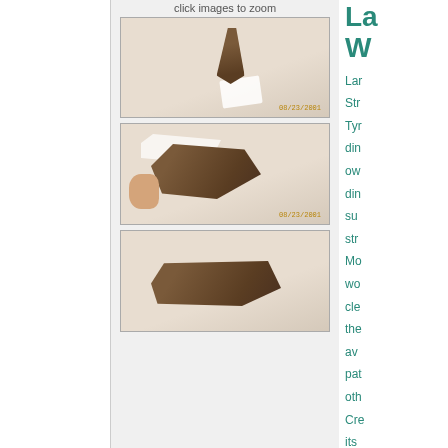click images to zoom
[Figure (photo): Close-up photo of a dinosaur tooth (brownish, conical shape) on white fabric background, with white tape/label at base. Date stamp visible lower right: 08/23/2001]
[Figure (photo): Close-up photo of a large dinosaur tooth being held with white paper/tape, showing its elongated profile on white fabric. Date stamp: 08/23/2001]
[Figure (photo): Partial photo of a large dinosaur tooth lying on white fabric, showing its curved profile from below]
La
W
Lar
Str
Tyr
din
ow
din
su
str
Mo
wo
cle
the
av
pa
ot
Cre
its
na
ind